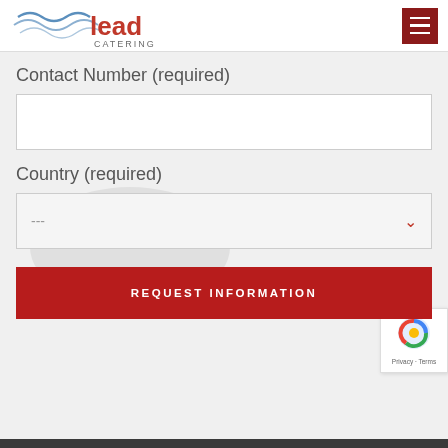[Figure (logo): Lead Catering logo with wave lines and hamburger menu icon]
Contact Number (required)
[Figure (screenshot): Empty text input field for contact number]
Country (required)
[Figure (screenshot): Dropdown select field showing --- with chevron arrow]
[Figure (screenshot): REQUEST INFORMATION button in dark red]
[Figure (screenshot): reCAPTCHA badge with Privacy and Terms text]